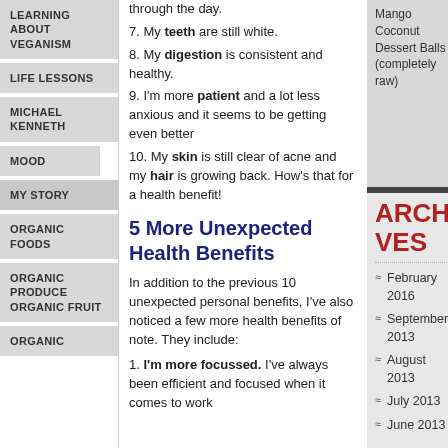LEARNING ABOUT VEGANISM
LIFE LESSONS
MICHAEL KENNETH
MOOD
MY STORY
ORGANIC FOODS
ORGANIC PRODUCE ORGANIC FRUIT
ORGANIC
through the day.
7. My teeth are still white.
8. My digestion is consistent and healthy.
9. I'm more patient and a lot less anxious and it seems to be getting even better
10. My skin is still clear of acne and my hair is growing back. How’s that for a health benefit!
5 More Unexpected Health Benefits
In addition to the previous 10 unexpected personal benefits, I've also noticed a few more health benefits of note. They include:
1. I'm more focussed. I've always been efficient and focused when it comes to work
Mango Coconut Dessert Balls (completely raw)
ARCHIVES
February 2016
September 2013
August 2013
July 2013
June 2013